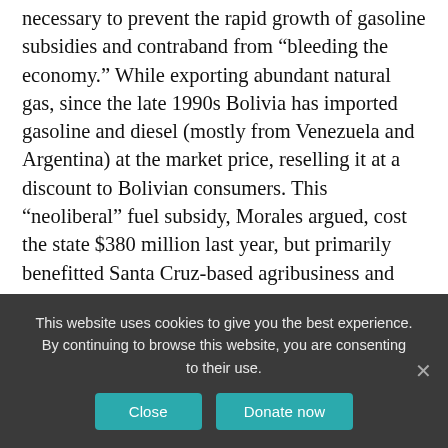necessary to prevent the rapid growth of gasoline subsidies and contraband from “bleeding the economy.” While exporting abundant natural gas, since the late 1990s Bolivia has imported gasoline and diesel (mostly from Venezuela and Argentina) at the market price, reselling it at a discount to Bolivian consumers. This “neoliberal” fuel subsidy, Morales argued, cost the state $380 million last year, but primarily benefitted Santa Cruz-based agribusiness and smugglers who resold the gas at double or triple the price across the border (wasting $150 million of the subsidy in the process). With the subsidy, gasoline in Bolivia has been cheaper than beer or water.
This website uses cookies to give you the best experience. By continuing to browse this website, you are consenting to their use.